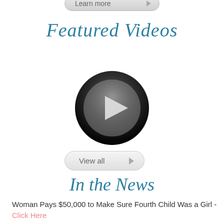[Figure (other): Partially visible 'Learn more' pill button with right-pointing arrow, cropped at top of page]
Featured Videos
[Figure (other): Circular play button icon: dark outer ring gradient, gray inner circle, white right-pointing triangle play symbol]
[Figure (other): 'View all' pill button with right-pointing arrow]
In the News
Woman Pays $50,000 to Make Sure Fourth Child Was a Girl - Click Here